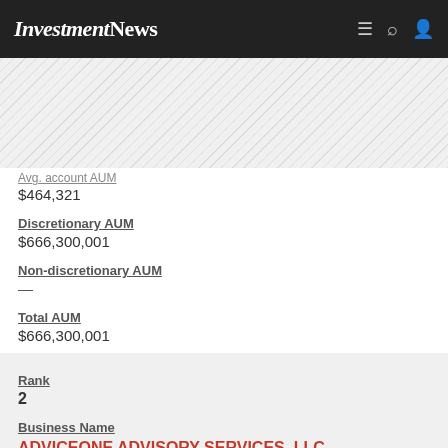InvestmentNews
[Figure (other): Diagonal striped gray banner/advertisement area]
Avg. account AUM
$464,321
Discretionary AUM
$666,300,001
Non-discretionary AUM
—
Total AUM
$666,300,001
Rank
2
Business Name
ADVICEONE ADVISORY SERVICES, LLC
Avg. account AUM
$282,928
Discretionary AUM